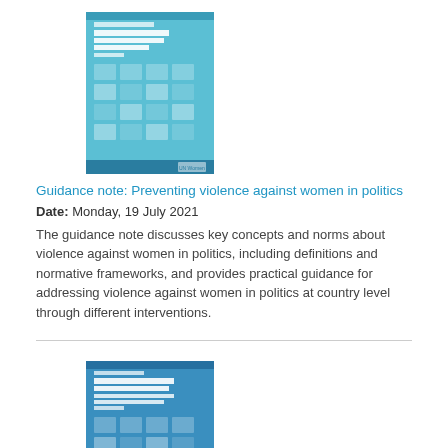[Figure (illustration): Book cover for 'Preventing Violence Against Women in Politics' with teal/blue geometric design and UN Women logo]
Guidance note: Preventing violence against women in politics
Date: Monday, 19 July 2021
The guidance note discusses key concepts and norms about violence against women in politics, including definitions and normative frameworks, and provides practical guidance for addressing violence against women in politics at country level through different interventions.
[Figure (illustration): Book cover for 'Shaping the International Agenda II: Progress on raising women's voices in intergovernmental forums' with blue geometric design and UN Women logo]
Shaping the international agenda II: Progress on raising women's voices in intergovernmental forums